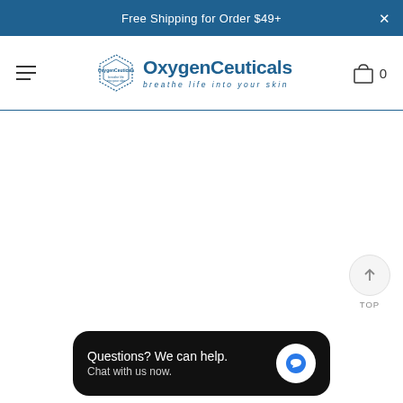Free Shipping for Order $49+
[Figure (logo): OxygenCeuticals logo with hexagonal emblem and tagline 'breathe life into your skin']
Questions? We can help. Chat with us now.